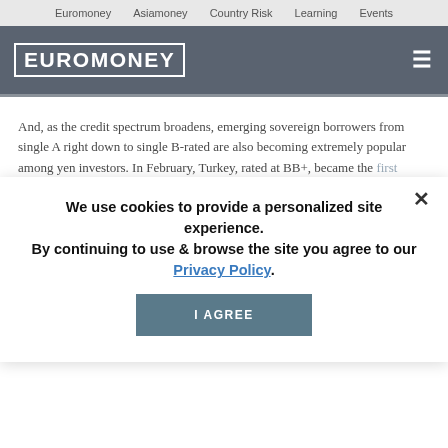Euromoney   Asiamoney   Country Risk   Learning   Events
[Figure (logo): Euromoney logo in white block letters with border on dark gray header bar]
And, as the credit spectrum broadens, emerging sovereign borrowers from single A right down to single B-rated are also becoming extremely popular among yen investors. In February, Turkey, rated at BB+, became the first emerging market sovereign to enter the limits of
We use cookies to provide a personalized site experience.
By continuing to use & browse the site you agree to our Privacy Policy.
I AGREE
You have reached premium content.
Please log in to continue reading.
Read beyond the headlines with